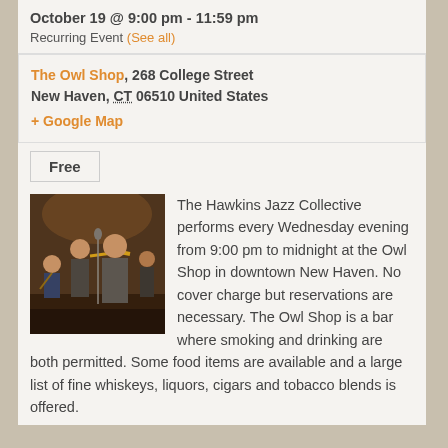October 19 @ 9:00 pm - 11:59 pm
Recurring Event (See all)
The Owl Shop, 268 College Street New Haven, CT 06510 United States + Google Map
Free
[Figure (photo): Jazz band performing live at The Owl Shop, musicians playing brass instruments in a dimly lit bar setting]
The Hawkins Jazz Collective performs every Wednesday evening from 9:00 pm to midnight at the Owl Shop in downtown New Haven.  No cover charge but reservations are necessary.  The Owl Shop is a bar where smoking and drinking are both permitted.  Some food items are available and a large list of fine whiskeys, liquors, cigars and tobacco blends is offered.